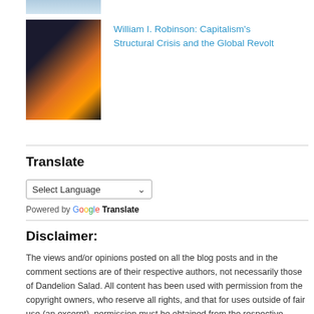[Figure (photo): Partial top strip of an image, cropped]
[Figure (photo): Photo showing a nighttime protest or riot scene with fire and people]
William I. Robinson: Capitalism's Structural Crisis and the Global Revolt
Translate
Select Language
Powered by Google Translate
Disclaimer:
The views and/or opinions posted on all the blog posts and in the comment sections are of their respective authors, not necessarily those of Dandelion Salad. All content has been used with permission from the copyright owners, who reserve all rights, and that for uses outside of fair use (an excerpt), permission must be obtained from the respective